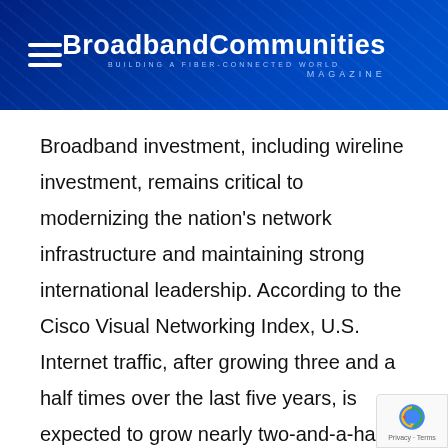BroadbandCommunities MAGAZINE — BUILDING A FIBER-CONNECTED WORLD
Broadband investment, including wireline investment, remains critical to modernizing the nation's network infrastructure and maintaining strong international leadership. According to the Cisco Visual Networking Index, U.S. Internet traffic, after growing three and a half times over the last five years, is expected to grow nearly two-and-a-half times again over the next five years. Traffic growth will be driven by consumer and business us…